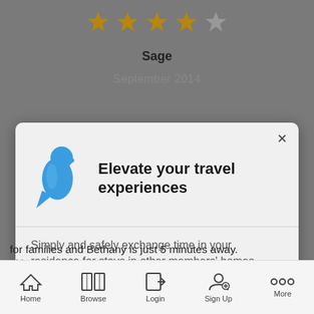[Figure (screenshot): Mobile app screenshot showing a rating of 4 out of 5 stars, reviewer name 'Sage', partially visible date text, a modal popup with blue bird logo, title 'Elevate your travel experiences', body text, and a 'Start Today' button, with bottom navigation bar]
Sage
[Figure (illustration): Blue stylized bird/pigeon logo icon]
Elevate your travel experiences
Simply and safely exchange time in your residence for stays in other members' homes worldwide.
Start Today
for families and Bethany is just 5 minutes away.
This was a very nice post-summer getaway."
Home
Browse
Login
Sign Up
More